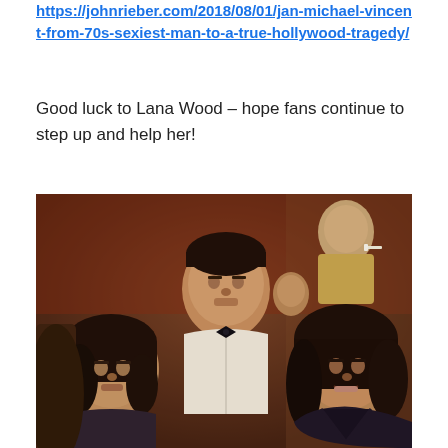https://johnrieber.com/2018/08/01/jan-michael-vincent-from-70s-sexiest-man-to-a-true-hollywood-tragedy/
Good luck to Lana Wood – hope fans continue to step up and help her!
[Figure (photo): A group of people in what appears to be a scene from a film or TV show. A man in a white shirt and bow tie is in the center, with women on either side, set against a crowded background.]